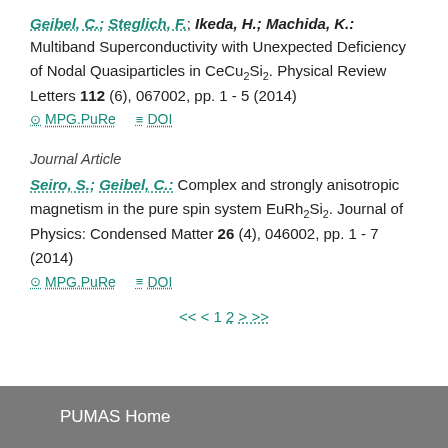Geibel, C.; Steglich, F.; Ikeda, H.; Machida, K.: Multiband Superconductivity with Unexpected Deficiency of Nodal Quasiparticles in CeCu2Si2. Physical Review Letters 112 (6), 067002, pp. 1 - 5 (2014)
MPG.PuRe   DOI
Journal Article
Seiro, S.; Geibel, C.: Complex and strongly anisotropic magnetism in the pure spin system EuRh2Si2. Journal of Physics: Condensed Matter 26 (4), 046002, pp. 1 - 7 (2014)
MPG.PuRe   DOI
<< < 1 2 > >>
PUMAS Home